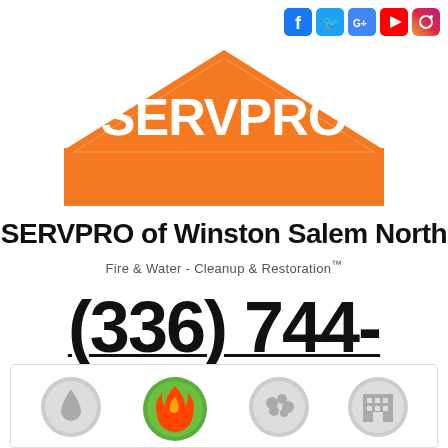[Figure (logo): Social media icons: Facebook, Twitter, Google, YouTube, Instagram]
[Figure (logo): SERVPRO logo — orange house/roof shape with SERVPRO text in white]
SERVPRO of Winston Salem North
Fire & Water - Cleanup & Restoration™
(336) 744-5104
[Figure (screenshot): REQUEST HELP ONLINE button with computer monitor icon and green menu button]
[Figure (infographic): Bottom panel with four service category icons: water drop, fire/flame, mold, commercial building]